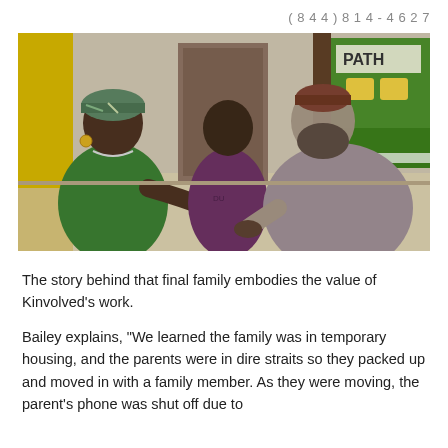(844) 814-4627
[Figure (photo): Three people in a school hallway: a woman in a green top with a head wrap shaking hands with a bearded man wearing a brown kufi and grey tunic, with a young man in a purple hoodie standing between them in the background.]
The story behind that final family embodies the value of Kinvolved’s work.
Bailey explains, “We learned the family was in temporary housing, and the parents were in dire straits so they packed up and moved in with a family member. As they were moving, the parent’s phone was shut off due to